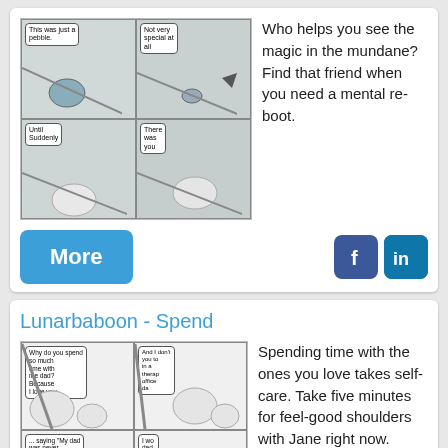[Figure (illustration): Comic strip with 4 panels. Top-left: speech bubble 'This was just a pebble.' Top-right: speech bubble 'Not very special at all'. Bottom-left: speech bubble 'Until suddenly'. Bottom-right: speech bubble 'There was you']
Who helps you see the magic in the mundane? Find that friend when you need a mental re-boot.
More
[Figure (logo): Facebook icon button]
[Figure (logo): LinkedIn icon button]
Lunarbaboon - Spend
[Figure (illustration): Comic strip with 4 panels showing a father and child. Top-left: 'Why do you spend so much time with me dad? Because I love you'. Top-right: 'And I don't you to in a therap office da'. Bottom-left: '... saying My dad was never there for'. Bottom-right: 'I wo dad I pro']
Spending time with the ones you love takes self-care. Take five minutes for feel-good shoulders with Jane right now.